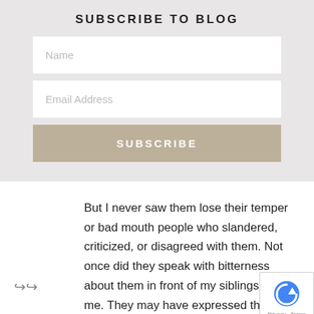SUBSCRIBE TO BLOG
[Figure (screenshot): Web form with Name input field]
[Figure (screenshot): Web form with Email Address input field]
[Figure (screenshot): Subscribe button]
But I never saw them lose their temper or bad mouth people who slandered, criticized, or disagreed with them. Not once did they speak with bitterness about them in front of my siblings and me. They may have expressed their sadness and concern but they never gave us cause to hate the persons who hurt them. Instead they would encourage us to pray.